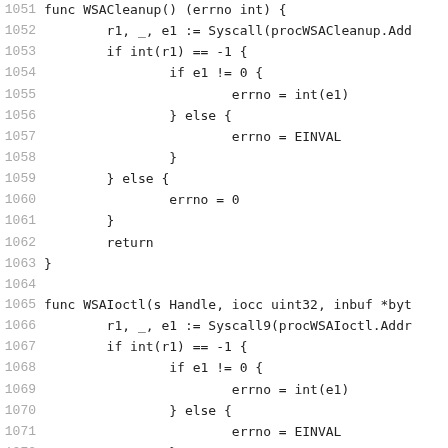Code listing lines 1051-1072 showing Go functions WSACleanup and WSAIoctl with syscall patterns and errno handling